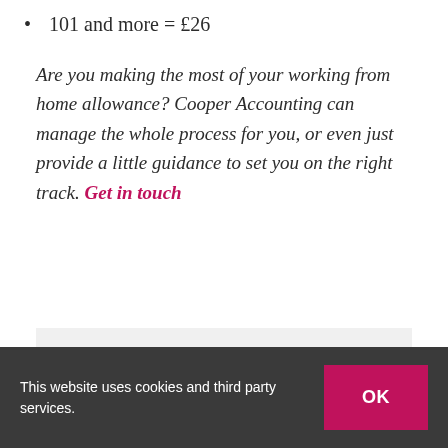101 and more = £26
Are you making the most of your working from home allowance? Cooper Accounting can manage the whole process for you, or even just provide a little guidance to set you on the right track. Get in touch
Share This Story, Choose Your Platform!
This website uses cookies and third party services.